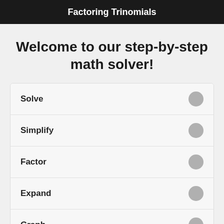Factoring Trinomials
Welcome to our step-by-step math solver!
Solve
Simplify
Factor
Expand
Graph
GCF
LCM